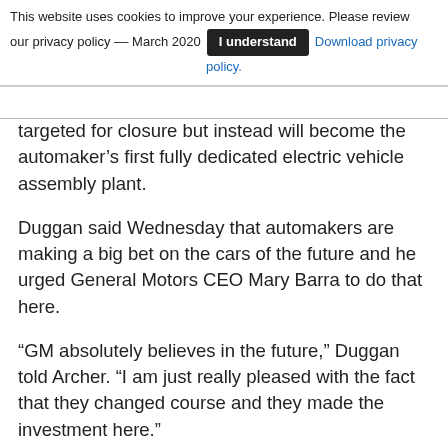This website uses cookies to improve your experience. Please review our privacy policy -- March 2020   [I understand]   Download privacy policy.
targeted for closure but instead will become the automaker's first fully dedicated electric vehicle assembly plant.
Duggan said Wednesday that automakers are making a big bet on the cars of the future and he urged General Motors CEO Mary Barra to do that here.
“GM absolutely believes in the future,” Duggan told Archer. “I am just really pleased with the fact that they changed course and they made the investment here.”
Duggan, a Democrat, also discussed the importance of the upcoming presidential election and said he’s